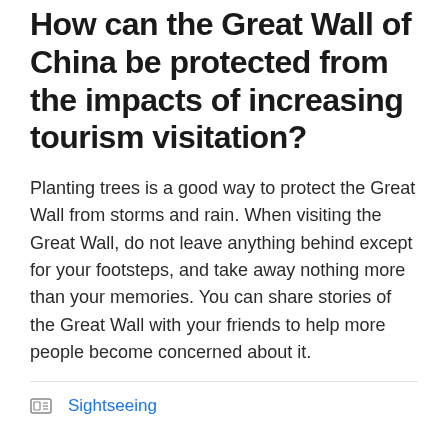How can the Great Wall of China be protected from the impacts of increasing tourism visitation?
Planting trees is a good way to protect the Great Wall from storms and rain. When visiting the Great Wall, do not leave anything behind except for your footsteps, and take away nothing more than your memories. You can share stories of the Great Wall with your friends to help more people become concerned about it.
Sightseeing